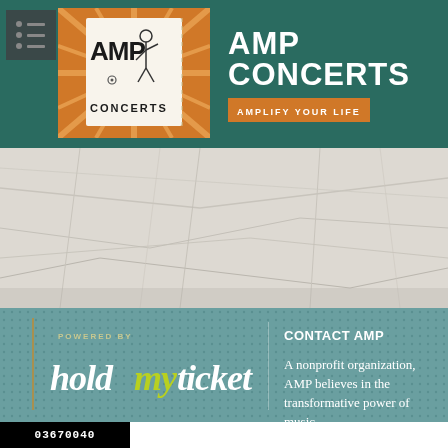[Figure (logo): AMP Concerts logo with stick figure and sunburst pattern on orange/white background]
AMP CONCERTS
AMPLIFY YOUR LIFE
[Figure (map): Grayscale street map background texture]
POWERED BY
[Figure (logo): holdmyticket logo in cursive style with 'my' in yellow-green]
CONTACT AMP
A nonprofit organization, AMP believes in the transformative power of music.
03670040